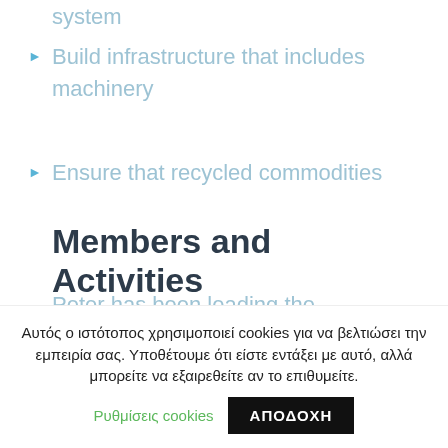system
Build infrastructure that includes machinery
Ensure that recycled commodities
Members and Activities
Peter has been leading the development of renewable energy projects since 2003 and
Αυτός ο ιστότοπος χρησιμοποιεί cookies για να βελτιώσει την εμπειρία σας. Υποθέτουμε ότι είστε εντάξει με αυτό, αλλά μπορείτε να εξαιρεθείτε αν το επιθυμείτε. Ρυθμίσεις cookies ΑΠΟΔΟΧΗ